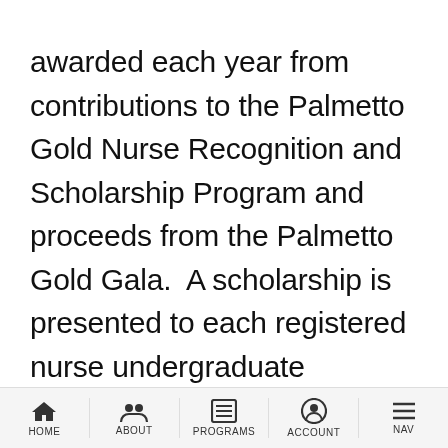awarded each year from contributions to the Palmetto Gold Nurse Recognition and Scholarship Program and proceeds from the Palmetto Gold Gala.  A scholarship is presented to each registered nurse undergraduate program in SC and the recipient is determined by the faculty at the program of nursing.  These
HOME | ABOUT | PROGRAMS | ACCOUNT | NAV